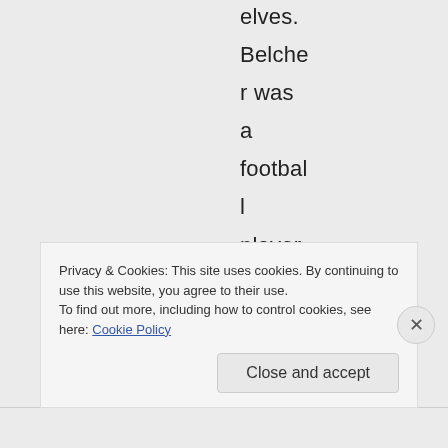elves. Belcher was a football player, after all – he could'
Privacy & Cookies: This site uses cookies. By continuing to use this website, you agree to their use. To find out more, including how to control cookies, see here: Cookie Policy
Close and accept